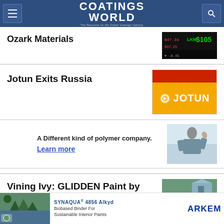Coatings World — The Resource for the Global Coatings Industry
Ozark Materials
Jotun Exits Russia
A Different kind of polymer company. Learn more
Vining Ivy: GLIDDEN Paint by
[Figure (other): SYNAQUA 4856 Alkyd — Biobased Binder For Sustainable Interior Paints — ARKEMA advertisement banner]